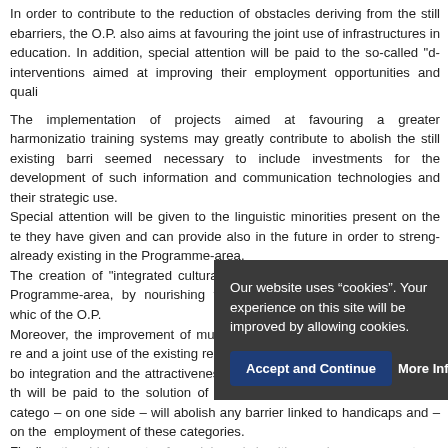In order to contribute to the reduction of obstacles deriving from the still existing barriers, the O.P. also aims at favouring the joint use of infrastructures in education. In addition, special attention will be paid to the so-called "d" interventions aimed at improving their employment opportunities and quali...
The implementation of projects aimed at favouring a greater harmonization training systems may greatly contribute to abolish the still existing barriers. It seemed necessary to include investments for the development of such information and communication technologies and their strategic use. Special attention will be given to the linguistic minorities present on the territory; they have given and can provide also in the future in order to strengthen those already existing in the Programme-area. The creation of "integrated cultural activities" will contribute to increase the Programme-area, by nourishing the development of "niche" tourism, which is one of the O.P. Moreover, the improvement of mutual knowledge – also through a joint research and a joint use of the existing resources – will certainly increase cross-border integration and the attractiveness of the Programme-area. Also within this, attention will be paid to the solution of issues regarding the "disadvantaged" categories which – on one side – will abolish any barrier linked to handicaps and – on the other employment of these categories. Finally, the high cost of social and health services represents a problem in national borders. In particular, the O.P. will promote initiatives supporting those categories. This will mark a real shift in the way services are provided, significantly improving their quality.
Refere...
Our website uses “cookies”. Your experience on this site will be improved by allowing cookies.
Accept and Continue
More Information